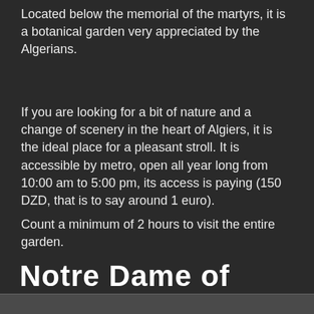Located below the memorial of the martyrs, it is a botanical garden very appreciated by the Algerians.
If you are looking for a bit of nature and a change of scenery in the heart of Algiers, it is the ideal place for a pleasant stroll. It is accessible by metro, open all year long from 10:00 am to 5:00 pm, its access is paying (150 DZD, that is to say around 1 euro).
Count a minimum of 2 hours to visit the entire garden.
Notre Dame of Africa
[Figure (photo): Bottom strip showing the beginning of an image, partially visible at the bottom of the page]